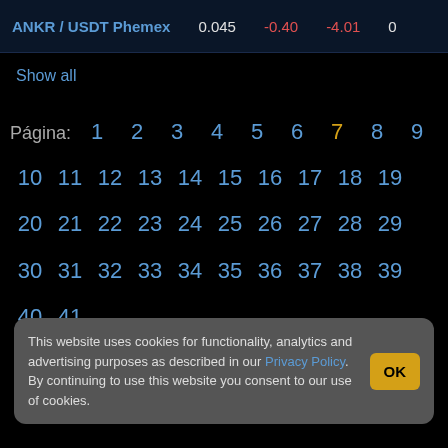ANKR / USDT Phemex   0.045   -0.40   -4.01   0
Show all
Página: 1 2 3 4 5 6 7 8 9 10 11 12 13 14 15 16 17 18 19 20 21 22 23 24 25 26 27 28 29 30 31 32 33 34 35 36 37 38 39 40 41
This website uses cookies for functionality, analytics and advertising purposes as described in our Privacy Policy. By continuing to use this website you consent to our use of cookies.
74 75 76 77